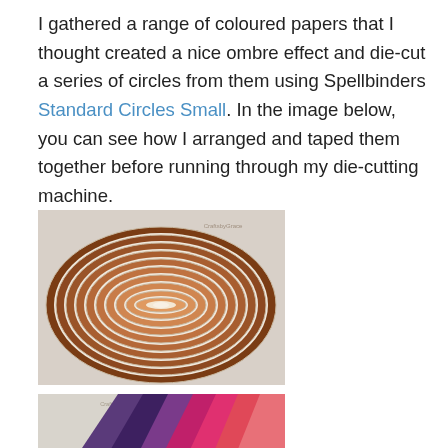I gathered a range of coloured papers that I thought created a nice ombre effect and die-cut a series of circles from them using Spellbinders Standard Circles Small. In the image below, you can see how I arranged and taped them together before running through my die-cutting machine.
[Figure (photo): A set of nested oval die-cut shapes in brown/rust tones arranged concentrically on a light grey background, forming an ombre oval spiral with a small cream centre. A small logo/watermark is visible at top right.]
[Figure (photo): Partial view of coloured papers in shades of purple, magenta, pink and red, arranged in an overlapping fan pattern, shown on a light grey background.]